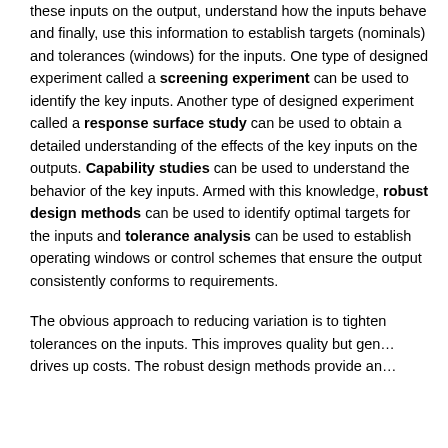these inputs on the output, understand how the inputs behave and finally, use this information to establish targets (nominals) and tolerances (windows) for the inputs. One type of designed experiment called a screening experiment can be used to identify the key inputs. Another type of designed experiment called a response surface study can be used to obtain a detailed understanding of the effects of the key inputs on the outputs. Capability studies can be used to understand the behavior of the key inputs. Armed with this knowledge, robust design methods can be used to identify optimal targets for the inputs and tolerance analysis can be used to establish operating windows or control schemes that ensure the output consistently conforms to requirements.
The obvious approach to reducing variation is to tighten tolerances on the inputs. This improves quality but generally drives up costs. The robust design methods provide an...